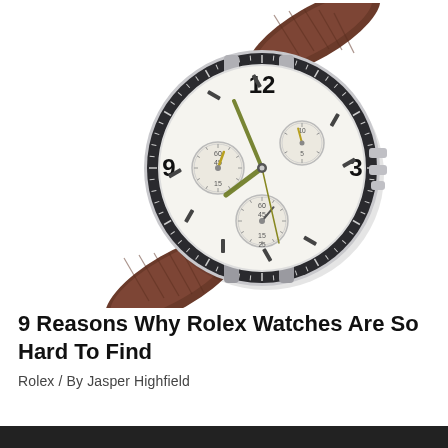[Figure (photo): A chronograph wristwatch with a silver case, white dial with three sub-dials, black Arabic numerals (12, 9, 3), gold/yellow-green hands, and a brown crocodile-texture leather strap, photographed on a white background at an angle.]
9 Reasons Why Rolex Watches Are So Hard To Find
Rolex / By Jasper Highfield